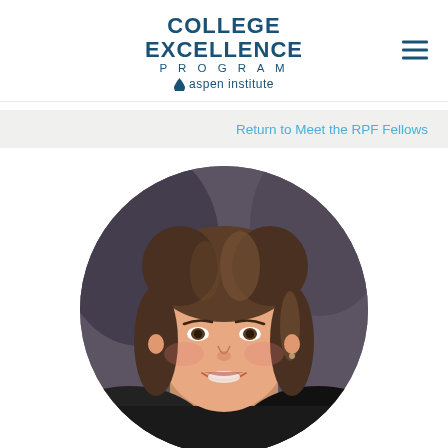COLLEGE EXCELLENCE PROGRAM aspen institute
Return to Meet the RPF Fellows
[Figure (photo): Circular headshot portrait of a smiling woman with brown shoulder-length hair, against a dark grey/brown studio background.]